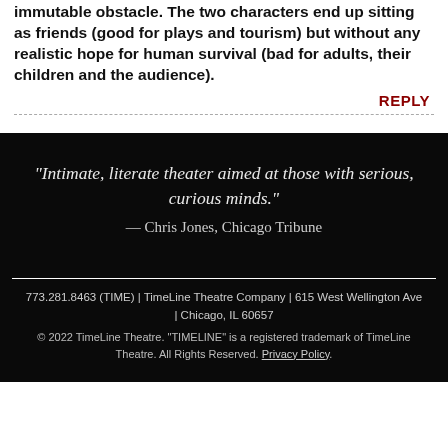immutable obstacle. The two characters end up sitting as friends (good for plays and tourism) but without any realistic hope for human survival (bad for adults, their children and the audience).
REPLY
“Intimate, literate theater aimed at those with serious, curious minds.” — Chris Jones, Chicago Tribune
773.281.8463 (TIME) | TimeLine Theatre Company | 615 West Wellington Ave | Chicago, IL 60657
© 2022 TimeLine Theatre. "TIMELINE" is a registered trademark of TimeLine Theatre. All Rights Reserved. Privacy Policy.